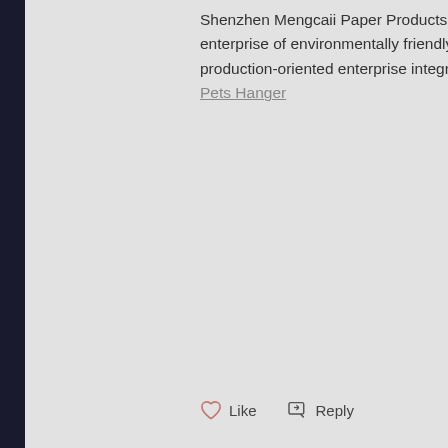Shenzhen Mengcaii Paper Products Co., Ltd. is a professional printing and packaging enterprise of environmentally friendly paper hangers for high-end clothing. It is a production-oriented enterprise integrating design, production, sales and development. Pets Hanger
Like  Reply
offpageseo69
Jul 12, 2021
[Thai language text with link]
Like  Reply